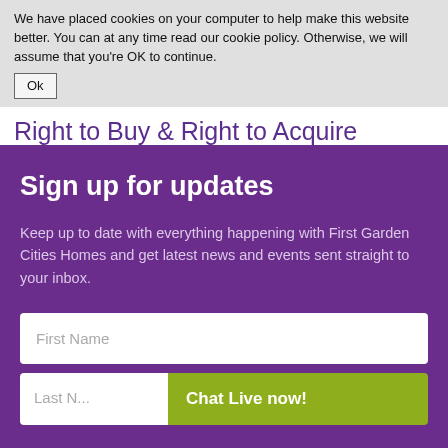We have placed cookies on your computer to help make this website better. You can at any time read our cookie policy. Otherwise, we will assume that you're OK to continue.
Ok
Right to Buy & Right to Acquire
Sign up for updates
Keep up to date with everything happening with First Garden Cities Homes and get latest news and events sent straight to your inbox.
First Name
Last N...
Chat Live now!